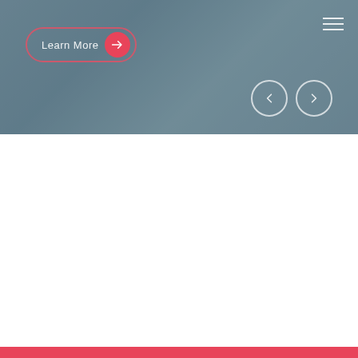[Figure (screenshot): Hero banner with blurred background, 'Learn More' button with pink arrow circle on left, hamburger menu icon top-right, back and forward navigation circle arrows bottom-right]
[Figure (screenshot): YouTube video embed thumbnail showing 'The Presentation for the...' with channel logo (A logo in red/white circle), three-dot menu, and a play button over a dark video still of a person]